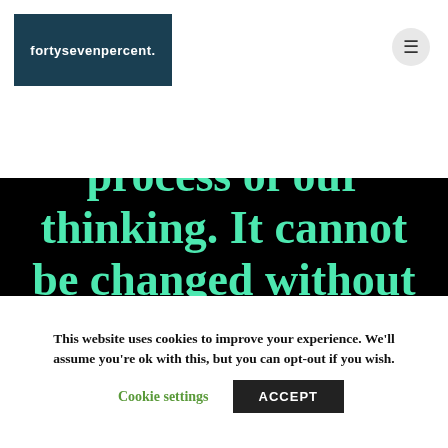[Figure (logo): fortysevenpercent. logo — white text on dark teal/navy rectangle]
[Figure (infographic): Black background with large teal/mint handwritten-style text reading: 'have created it is a process of our thinking. It cannot be changed without changing our']
This website uses cookies to improve your experience. We'll assume you're ok with this, but you can opt-out if you wish.
Cookie settings
ACCEPT